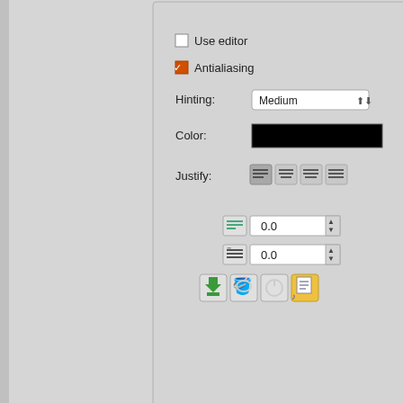[Figure (screenshot): GIMP text tool options panel showing Use editor checkbox (unchecked), Antialiasing checkbox (checked/orange), Hinting: Medium dropdown, Color: black swatch, Justify buttons (4 options), indent and line spacing spinboxes with 0.0 values, and toolbar icons at bottom. Right side shows GIMP canvas with 'The GIMP' text and 'Wonderful' text in large serif font, with ruler and scrollbar visible. Bottom shows px unit selector.]
New layer groups
It is now possible to group set of layers and treat them like an entity. It is possible to switch a group on or off and to move the group in the layers dialog. It is easy to add / remove existing layers to a group or to create / delete a layer inside the group and it is even